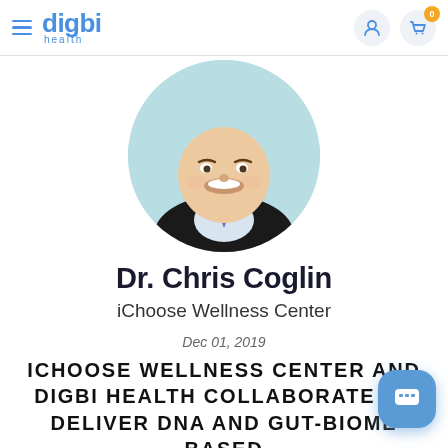digbi health
[Figure (photo): Circular cropped headshot of Dr. Chris Coglin in a dark suit jacket and light shirt with tie, smiling, against a light teal/blue background.]
Dr. Chris Coglin
iChoose Wellness Center
Dec 01, 2019
ICHOOSE WELLNESS CENTER AND DIGBI HEALTH COLLABORATE TO DELIVER DNA AND GUT-BIOME BASED